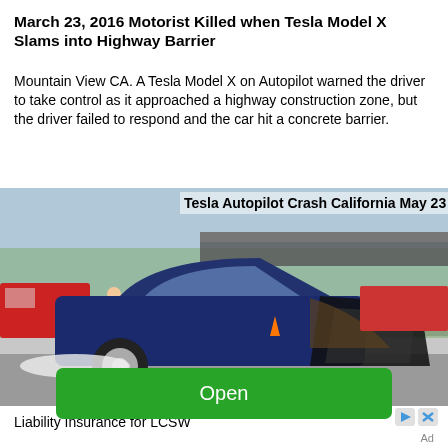March 23, 2016 Motorist Killed when Tesla Model X Slams into Highway Barrier
Mountain View CA. A Tesla Model X on Autopilot warned the driver to take control as it approached a highway construction zone, but the driver failed to respond and the car hit a concrete barrier.
[Figure (photo): Crashed dark blue Tesla Model X on highway with rear end severely damaged, emergency vehicles in background. Overlay text: Tesla Autopilot Crash California May 23]
Liability Insurance for LCSW
Open
Ad